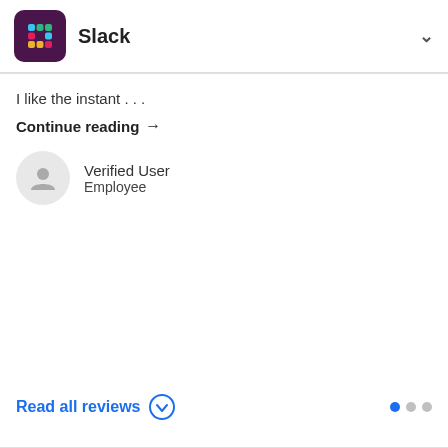Slack
I like the instant . . .
Continue reading →
Verified User
Employee
Read all reviews